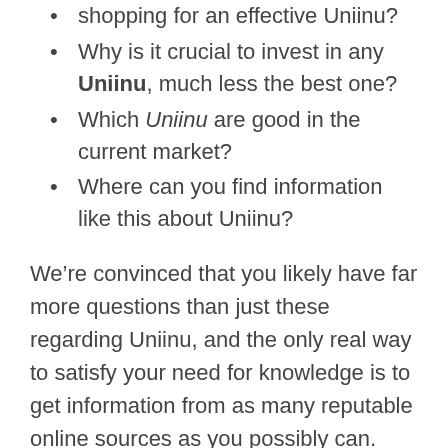shopping for an effective Uniinu?
Why is it crucial to invest in any Uniinu, much less the best one?
Which Uniinu are good in the current market?
Where can you find information like this about Uniinu?
We’re convinced that you likely have far more questions than just these regarding Uniinu, and the only real way to satisfy your need for knowledge is to get information from as many reputable online sources as you possibly can.
Potential sources can include buying guides for Uniinu, rating websites, word-of-mouth testimonials, online forums, and product reviews. Thorough and